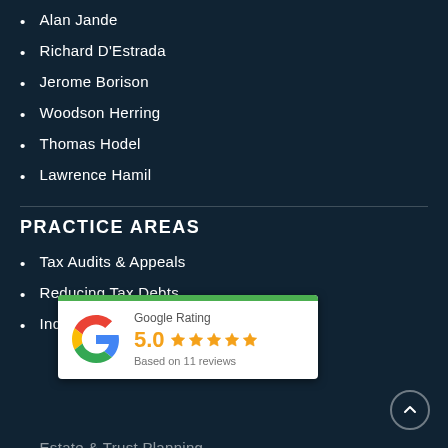Alan Jande
Richard D'Estrada
Jerome Borison
Woodson Herring
Thomas Hodel
Lawrence Hamil
PRACTICE AREAS
Tax Audits & Appeals
Reducing Tax Debts
Individual Tax Controversy
[Figure (other): Google Rating widget showing 5.0 stars based on 11 reviews]
Estate & Trust Planning
Probate/Trust Administration & Litigation